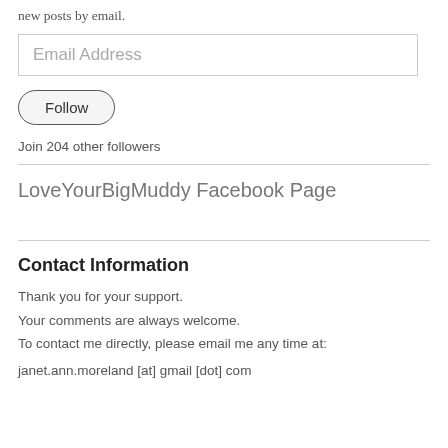new posts by email.
Email Address
Follow
Join 204 other followers
LoveYourBigMuddy Facebook Page
Contact Information
Thank you for your support.
Your comments are always welcome.
To contact me directly, please email me any time at:
janet.ann.moreland [at] gmail [dot] com